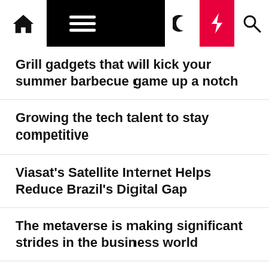Home | Menu | Moon | Bolt | Search
Grill gadgets that will kick your summer barbecue game up a notch
Growing the tech talent to stay competitive
Viasat's Satellite Internet Helps Reduce Brazil's Digital Gap
The metaverse is making significant strides in the business world
Registering Your Site With Unauthorized Third Party
Big Tech is turning is back on the leap second
InstaGNG, a Vision Group Company, claims world's largest Smart Cooler technology